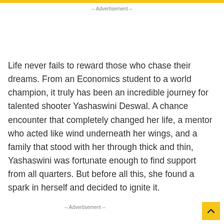-- Advertisement --
Life never fails to reward those who chase their dreams. From an Economics student to a world champion, it truly has been an incredible journey for talented shooter Yashaswini Deswal. A chance encounter that completely changed her life, a mentor who acted like wind underneath her wings, and a family that stood with her through thick and thin, Yashaswini was fortunate enough to find support from all quarters. But before all this, she found a spark in herself and decided to ignite it.
-- Advertisement --